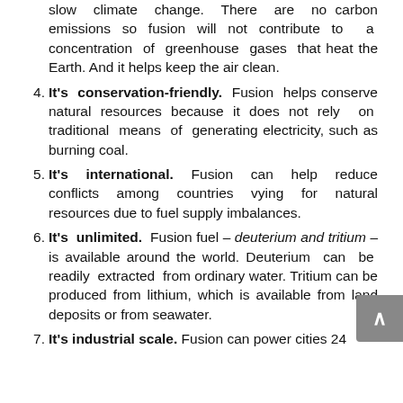slow climate change. There are no carbon emissions so fusion will not contribute to a concentration of greenhouse gases that heat the Earth. And it helps keep the air clean.
4. It's conservation-friendly. Fusion helps conserve natural resources because it does not rely on traditional means of generating electricity, such as burning coal.
5. It's international. Fusion can help reduce conflicts among countries vying for natural resources due to fuel supply imbalances.
6. It's unlimited. Fusion fuel – deuterium and tritium – is available around the world. Deuterium can be readily extracted from ordinary water. Tritium can be produced from lithium, which is available from land deposits or from seawater.
7. It's industrial scale. Fusion can power cities 24